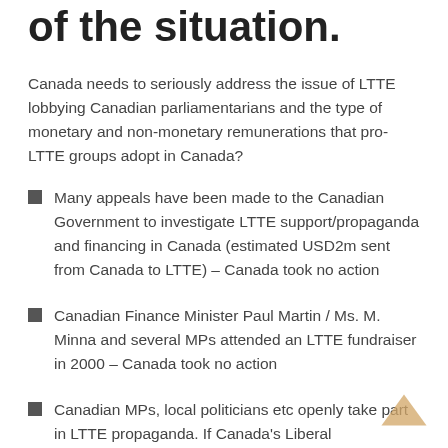of the situation.
Canada needs to seriously address the issue of LTTE lobbying Canadian parliamentarians and the type of monetary and non-monetary remunerations that pro-LTTE groups adopt in Canada?
Many appeals have been made to the Canadian Government to investigate LTTE support/propaganda and financing in Canada (estimated USD2m sent from Canada to LTTE) – Canada took no action
Canadian Finance Minister Paul Martin / Ms. M. Minna and several MPs attended an LTTE fundraiser in 2000 – Canada took no action
Canadian MPs, local politicians etc openly take part in LTTE propaganda. If Canada's Liberal